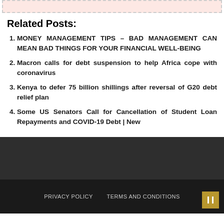Related Posts:
MONEY MANAGEMENT TIPS – BAD MANAGEMENT CAN MEAN BAD THINGS FOR YOUR FINANCIAL WELL-BEING
Macron calls for debt suspension to help Africa cope with coronavirus
Kenya to defer 75 billion shillings after reversal of G20 debt relief plan
Some US Senators Call for Cancellation of Student Loan Repayments and COVID-19 Debt | New
PRIVACY POLICY   TERMS AND CONDITIONS